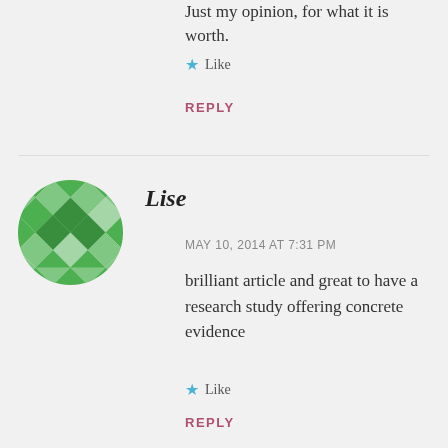Just my opinion, for what it is worth.
Like
REPLY
[Figure (illustration): Round avatar with green geometric quilt-like pattern]
Lise
MAY 10, 2014 AT 7:31 PM
brilliant article and great to have a research study offering concrete evidence
Like
REPLY